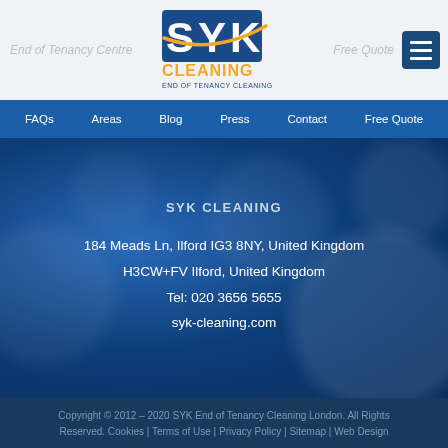[Figure (logo): SYK Cleaning - End of Tenancy Cleaning logo with orange and white text on transparent background]
End of Tenancy Centre | Free Quote
FAQs | Areas | Blog | Press | Contact | Free Quote
SYK CLEANING
184 Meads Ln, Ilford IG3 8NY, United Kingdom
H3CW+FV Ilford, United Kingdom
Tel: 020 3656 5655
syk-cleaning.com
Copyright © 2012 – 2020 SYK End of Tenancy Cleaning London. All Rights Reserved. Cookies | Terms of Use | Privacy Policy | Sitemap | Web Design
CALL NOW
BOOK NOW